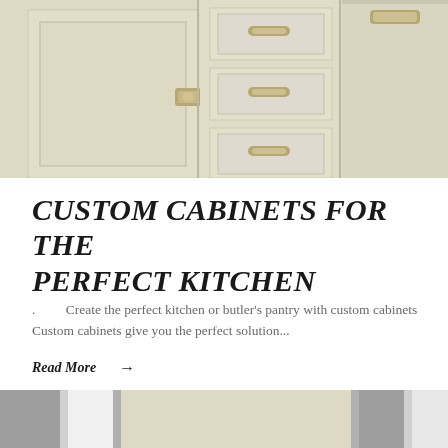[Figure (photo): Photo of cream/off-white painted kitchen cabinets with silver/chrome cup pulls and knobs hardware, showing cabinet doors and drawer fronts in a shaker style]
CUSTOM CABINETS FOR THE PERFECT KITCHEN
. Create the perfect kitchen or butler's pantry with custom cabinets  Custom cabinets give you the perfect solution...
Read More →
[Figure (photo): Partial photo at bottom showing kitchen cabinets in gray and cream/beige colors, partially cropped]